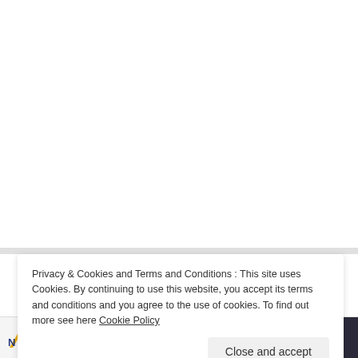Privacy & Cookies and Terms and Conditions : This site uses Cookies. By continuing to use this website, you accept its terms and conditions and you agree to the use of cookies. To find out more see here Cookie Policy
Close and accept
18 Job Positions at FONERWA: (Deadline